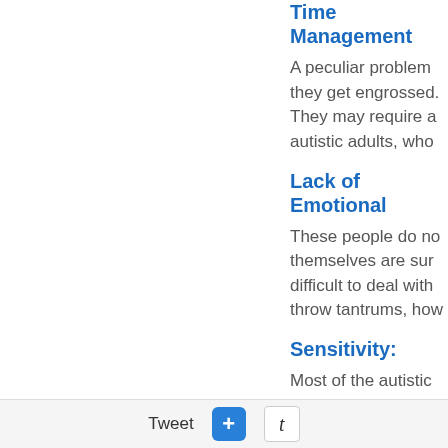Time Management:
A peculiar problem they get engrossed. They may require a autistic adults, who
Lack of Emotional
These people do no themselves are sur difficult to deal with throw tantrums, ho
Sensitivity:
Most of the autistic crowds. Some of th hypo sensitivity to t
Motor Activity:
It is observed that m motor difficulty. This writing, etc. ay inm at a
Tweet  +  t